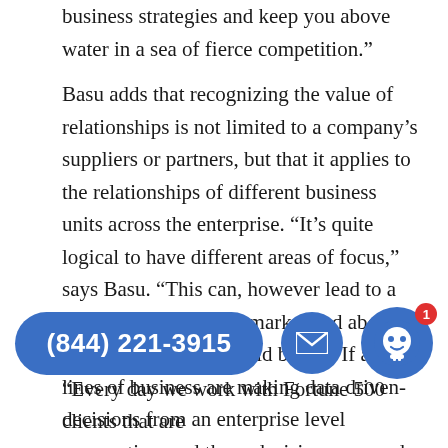business strategies and keep you above water in a sea of fierce competition.”
Basu adds that recognizing the value of relationships is not limited to a company’s suppliers or partners, but that it applies to the relationships of different business units across the enterprise. “It’s quite logical to have different areas of focus,” says Basu. “This can, however lead to a narrow lens about the market and about how the company should be run. If all lines of business are making data driven-decisions from an enterprise level prospective, and those decisions are made by applying analytics, then it’s a lot easier for them to come to the table, at least with the same understanding of enterprise-wide insights.
“Every day we work with Fortune 500 clients that are